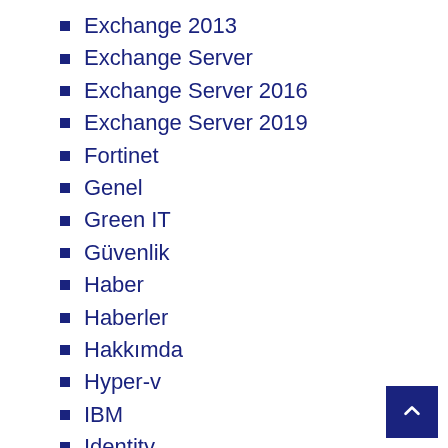Exchange 2013
Exchange Server
Exchange Server 2016
Exchange Server 2019
Fortinet
Genel
Green IT
Güvenlik
Haber
Haberler
Hakkımda
Hyper-v
IBM
Identity
IIS